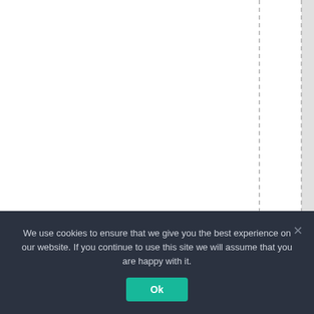[Figure (other): Partial view of a chart or table with vertical axis label reading 'Temperatures inc' (truncated), shown rotated 90 degrees. Gray highlighted column and dashed vertical column lines are visible. The text appears to be part of an axis label or column header.]
We use cookies to ensure that we give you the best experience on our website. If you continue to use this site we will assume that you are happy with it.